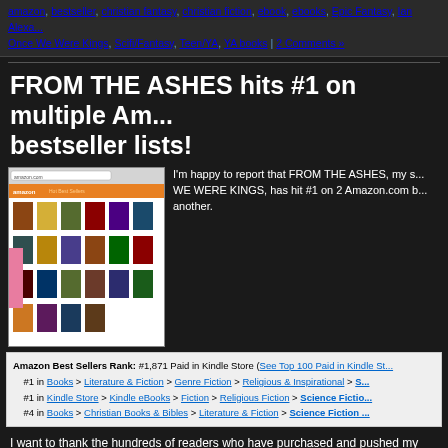amazon, bestseller, christian fantasy, christian fiction, ebook, ebooks, Epic Fantasy, Ian Alexa... Once We Were Kings, Scifi/Fantasy, Teen/YA, YA books | 2 Comments »
FROM THE ASHES hits #1 on multiple Am... bestseller lists!
[Figure (screenshot): Screenshot of Amazon Best Sellers page showing book listings]
I'm happy to report that FROM THE ASHES, my s... WE WERE KINGS, has hit #1 on 2 Amazon.com b... another.
Amazon Best Sellers Rank: #1,871 Paid in Kindle Store (See Top 100 Paid in Kindle St... #1 in Books > Literature & Fiction > Genre Fiction > Religious & Inspirational > S... #1 in Kindle Store > Kindle eBooks > Fiction > Religious Fiction > Science Fictio... #4 in Books > Christian Books & Bibles > Literature & Fiction > Science Fiction ...
I want to thank the hundreds of readers who have purchased and pushed my ebo... It's now in very good company!